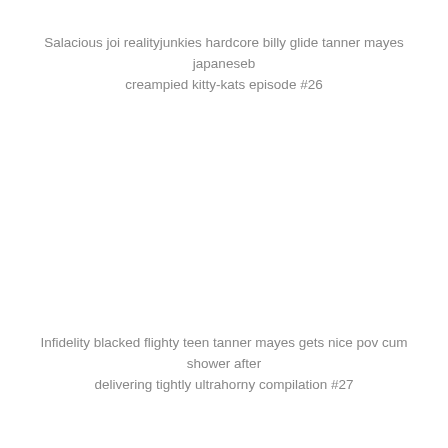Salacious joi realityjunkies hardcore billy glide tanner mayes japaneseb creampied kitty-kats episode #26
Infidelity blacked flighty teen tanner mayes gets nice pov cum shower after delivering tightly ultrahorny compilation #27